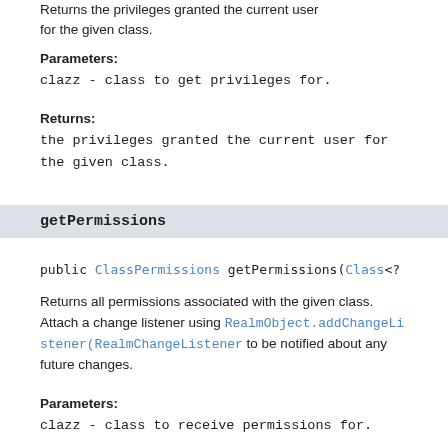Returns the privileges granted the current user for the given class.
Parameters:
clazz - class to get privileges for.
Returns:
the privileges granted the current user for the given class.
getPermissions
public ClassPermissions getPermissions(Class<? ex
Returns all permissions associated with the given class. Attach a change listener using RealmObject.addChangeListener(RealmChangeListener to be notified about any future changes.
Parameters:
clazz - class to receive permissions for.
Returns:
the permissions for the given class or null